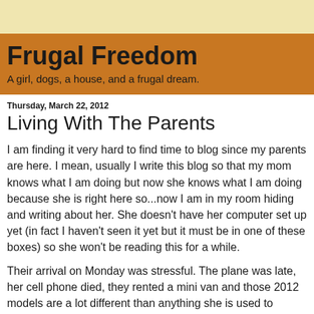Frugal Freedom
A girl, dogs, a house, and a frugal dream.
Thursday, March 22, 2012
Living With The Parents
I am finding it very hard to find time to blog since my parents are here. I mean, usually I write this blog so that my mom knows what I am doing but now she knows what I am doing because she is right here so...now I am in my room hiding and writing about her. She doesn't have her computer set up yet (in fact I haven't seen it yet but it must be in one of these boxes) so she won't be reading this for a while.
Their arrival on Monday was stressful. The plane was late, her cell phone died, they rented a mini van and those 2012 models are a lot different than anything she is used to driving. We did make it home in one piece but it was much